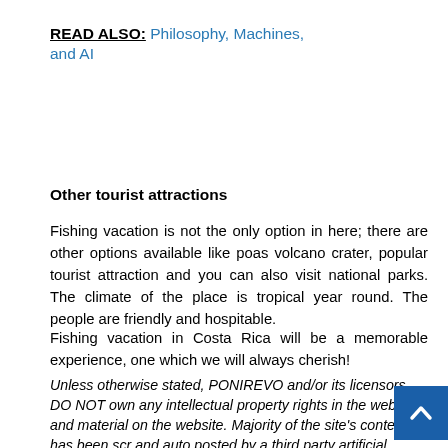READ ALSO: Philosophy, Machines, and AI
Other tourist attractions
Fishing vacation is not the only option in here; there are other options available like poas volcano crater, popular tourist attraction and you can also visit national parks. The climate of the place is tropical year round. The people are friendly and hospitable.
Fishing vacation in Costa Rica will be a memorable experience, one which we will always cherish!
Unless otherwise stated, PONIREVO and/or its licensors DO NOT own any intellectual property rights in the website and material on the website. Majority of the site's content has been scr and auto posted by a third party artificial intelligence program — PONIREVO Creation Team.